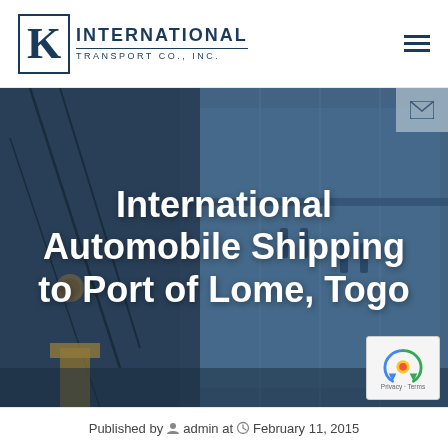K INTERNATIONAL TRANSPORT CO., INC.
[Figure (photo): Hero image showing a large blue cargo/shipping vessel with ropes and dock equipment, overlaid with large white text reading 'International Automobile Shipping to Port of Lome, Togo'. An email icon overlay appears top-right, and a reCAPTCHA badge bottom-right.]
International Automobile Shipping to Port of Lome, Togo
Published by admin at February 11, 2015